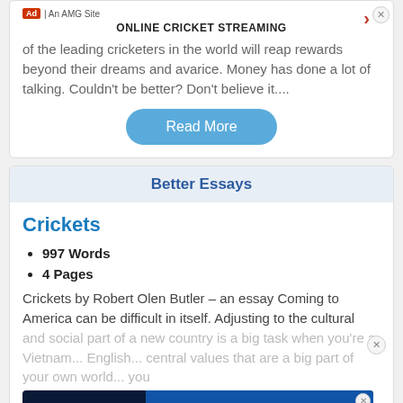of the leading cricketers in the world will reap rewards beyond their dreams and avarice. Money has done a lot of talking. Couldn't be better? Don't believe it....
ONLINE CRICKET STREAMING
Ad | An AMG Site
Read More
Better Essays
Crickets
997 Words
4 Pages
Crickets by Robert Olen Butler – an essay Coming to America can be difficult in itself. Adjusting to the cultural and social part of a new country is a big task when you're a Vietnam... English... central values that are a big part of your own world... you